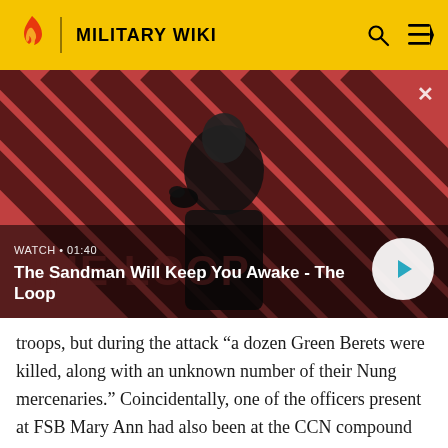MILITARY WIKI
[Figure (screenshot): Video thumbnail for 'The Sandman Will Keep You Awake - The Loop' showing a dark-costumed figure with a raven on his shoulder against a red and black diagonal striped background. Label: WATCH · 01:40 with a play button.]
troops, but during the attack "a dozen Green Berets were killed, along with an unknown number of their Nung mercenaries." Coincidentally, one of the officers present at FSB Mary Ann had also been at the CCN compound when it was attacked.[39] Sappers also attacked elements of